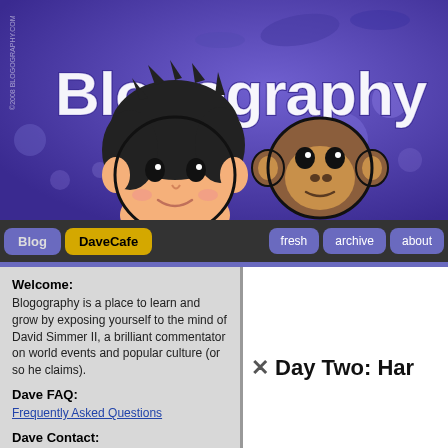[Figure (illustration): Blogography website banner with purple background, cartoon illustration of a person with dark hair and a monkey character, with 'Blogography' text in white grunge-style font and a watermark '©2008 BLOGOGRAPHY.COM' on the left side]
Blog | DaveCafe | fresh | archive | about
Welcome:
Blogography is a place to learn and grow by exposing yourself to the mind of David Simmer II, a brilliant commentator on world events and popular culture (or so he claims).
Dave FAQ:
Frequently Asked Questions
Dave Contact:
dave@blogography.com
✕ Day Two: Har